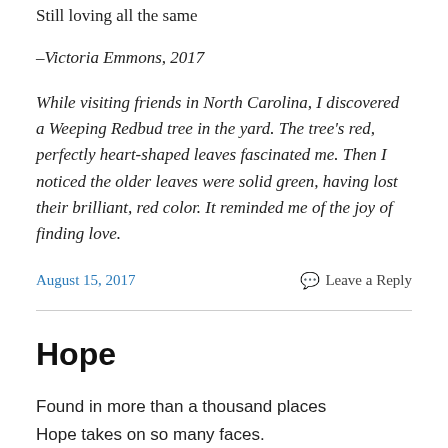Still loving all the same
–Victoria Emmons, 2017
While visiting friends in North Carolina, I discovered a Weeping Redbud tree in the yard. The tree's red, perfectly heart-shaped leaves fascinated me. Then I noticed the older leaves were solid green, having lost their brilliant, red color. It reminded me of the joy of finding love.
August 15, 2017
Leave a Reply
Hope
Found in more than a thousand places
Hope takes on so many faces.